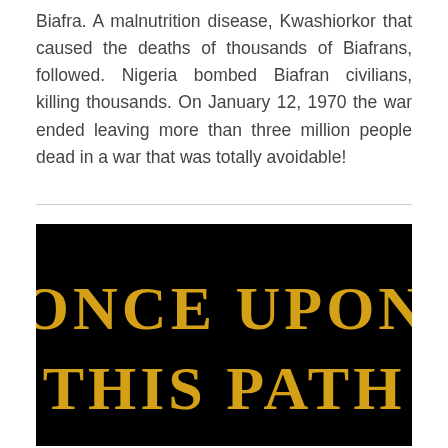Biafra. A malnutrition disease, Kwashiorkor that caused the deaths of thousands of Biafrans, followed. Nigeria bombed Biafran civilians, killing thousands. On January 12, 1970 the war ended leaving more than three million people dead in a war that was totally avoidable!
[Figure (illustration): Book cover or title card with black background and gold serif text reading 'ONCE UPON THIS PATH']